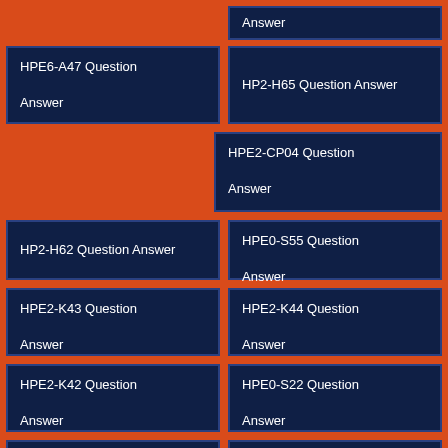Answer
HPE6-A47 Question Answer
HP2-H65 Question Answer
HPE2-CP04 Question Answer
HP2-H62 Question Answer
HPE0-S55 Question Answer
HPE2-K43 Question Answer
HPE2-K44 Question Answer
HPE2-K42 Question Answer
HPE0-S22 Question Answer
HP2-B138 Question
HP3-022 Question Answer